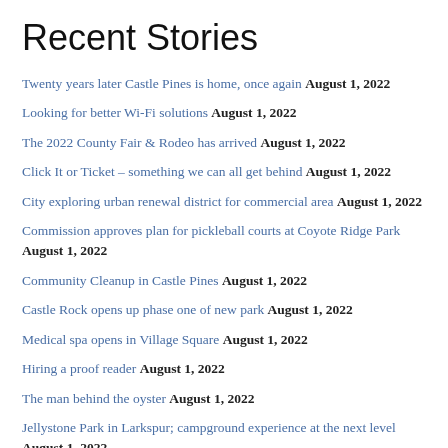Recent Stories
Twenty years later Castle Pines is home, once again August 1, 2022
Looking for better Wi-Fi solutions August 1, 2022
The 2022 County Fair & Rodeo has arrived August 1, 2022
Click It or Ticket – something we can all get behind August 1, 2022
City exploring urban renewal district for commercial area August 1, 2022
Commission approves plan for pickleball courts at Coyote Ridge Park August 1, 2022
Community Cleanup in Castle Pines August 1, 2022
Castle Rock opens up phase one of new park August 1, 2022
Medical spa opens in Village Square August 1, 2022
Hiring a proof reader August 1, 2022
The man behind the oyster August 1, 2022
Jellystone Park in Larkspur; campground experience at the next level August 1, 2022